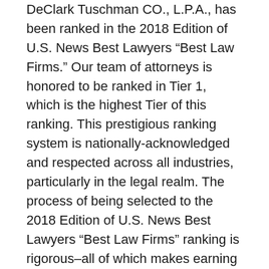DeClark Tuschman CO., L.P.A., has been ranked in the 2018 Edition of U.S. News Best Lawyers “Best Law Firms.” Our team of attorneys is honored to be ranked in Tier 1, which is the highest Tier of this ranking. This prestigious ranking system is nationally-acknowledged and respected across all industries, particularly in the legal realm. The process of being selected to the 2018 Edition of U.S. News Best Lawyers “Best Law Firms” ranking is rigorous–all of which makes earning a Tier 1 ranking all the more of an accomplishment. The deciding committee considers a number of important aspects, such as client success and satisfaction, professional achievement, and impacts on the community. Firms considered for this organization first must be nominated, and then undergo a serious peer review. After an analysis of all feedback given, the nominated law firm undergoes an eligibility check and results are released. Our firm could not be more proud of having